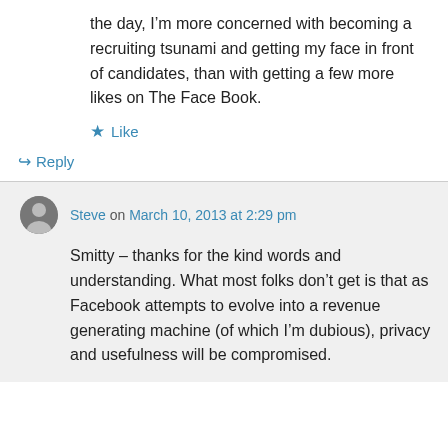the day, I'm more concerned with becoming a recruiting tsunami and getting my face in front of candidates, than with getting a few more likes on The Face Book.
★ Like
↳ Reply
Steve on March 10, 2013 at 2:29 pm
Smitty – thanks for the kind words and understanding. What most folks don't get is that as Facebook attempts to evolve into a revenue generating machine (of which I'm dubious), privacy and usefulness will be compromised.